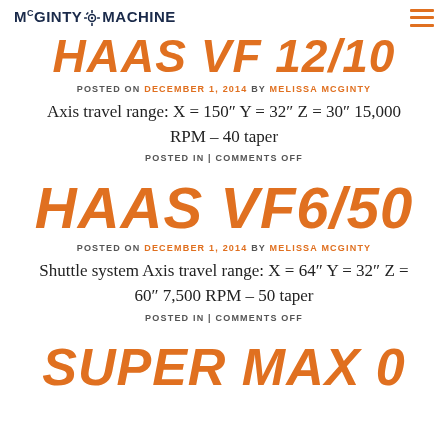McGINTY MACHINE
HAAS VF 12/10
POSTED ON DECEMBER 1, 2014 BY MELISSA MCGINTY
Axis travel range: X = 150" Y = 32" Z = 30" 15,000 RPM – 40 taper
POSTED IN | COMMENTS OFF
HAAS VF6/50
POSTED ON DECEMBER 1, 2014 BY MELISSA MCGINTY
Shuttle system Axis travel range: X = 64" Y = 32" Z = 60" 7,500 RPM – 50 taper
POSTED IN | COMMENTS OFF
SUPER MAX 0